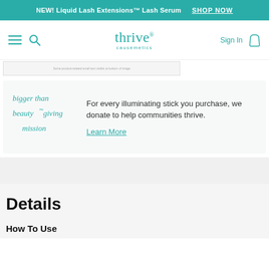NEW! Liquid Lash Extensions™ Lash Serum  SHOP NOW
[Figure (logo): Thrive Causemetics logo with hamburger menu, search icon, sign in and bag icon navigation bar]
[Figure (screenshot): Partial product image strip with small text]
For every illuminating stick you purchase, we donate to help communities thrive.
Learn More
Details
How To Use